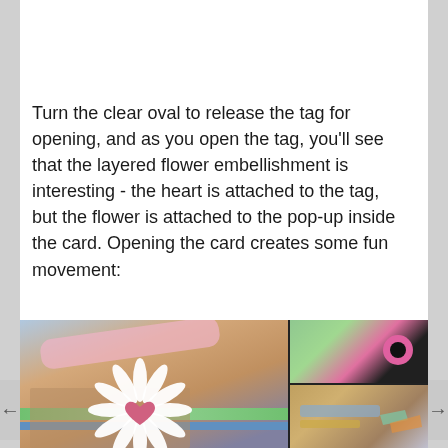[Figure (photo): Top photo showing a craft project with dark wooden/textured background, partially visible]
Turn the clear oval to release the tag for opening, and as you open the tag, you'll see that the layered flower embellishment is interesting - the heart is attached to the tag, but the flower is attached to the pop-up inside the card. Opening the card creates some fun movement:
[Figure (photo): Collage of three photos showing a handmade card with a white daisy flower, pink heart, pink ribbon, green and blue strips, children playing with the card in background, and close-up detail shots of flower embellishment and card components]